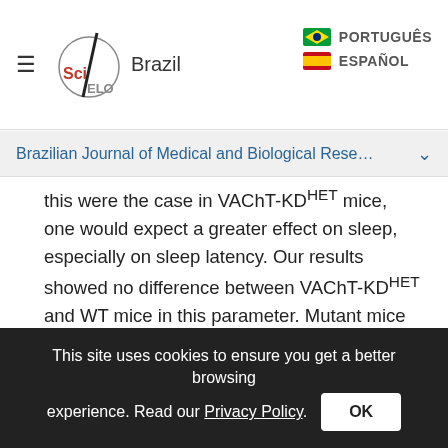SciELO Brazil | PORTUGUÊS | ESPAÑOL
Brazilian Journal of Medical and Biological Rese...
this were the case in VAChT-KDHET mice, one would expect a greater effect on sleep, especially on sleep latency. Our results showed no difference between VAChT-KDHET and WT mice in this parameter. Mutant mice had an even smaller PS latency (although not reaching statistical significance). Taken together, the present data suggest that different stress responses were not the main cause of sleep alterations observed in the VAChT-deficient mice.

In conclusion, VAChT-KDHET animals present
This site uses cookies to ensure you get a better browsing experience. Read our Privacy Policy.